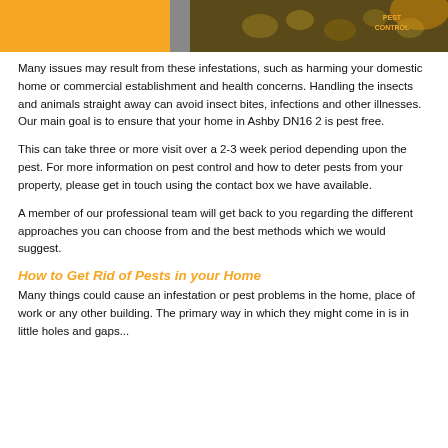[Figure (photo): Banner image with orange and dark background, bees/insects visible on right side, 'PEST CONTROL' text in orange on right]
Many issues may result from these infestations, such as harming your domestic home or commercial establishment and health concerns. Handling the insects and animals straight away can avoid insect bites, infections and other illnesses. Our main goal is to ensure that your home in Ashby DN16 2 is pest free.
This can take three or more visit over a 2-3 week period depending upon the pest. For more information on pest control and how to deter pests from your property, please get in touch using the contact box we have available.
A member of our professional team will get back to you regarding the different approaches you can choose from and the best methods which we would suggest.
How to Get Rid of Pests in your Home
Many things could cause an infestation or pest problems in the home, place of work or any other building. The primary way in which they might come in is in little holes and gaps...